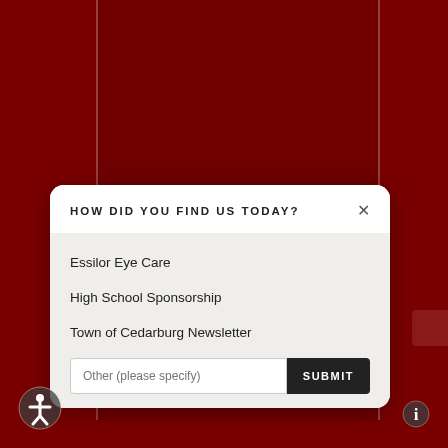[Figure (screenshot): Dark red/maroon website background with vertical white border lines forming a column layout]
HOW DID YOU FIND US TODAY?
Essilor Eye Care
High School Sponsorship
Town of Cedarburg Newsletter
Other (please specify)
SUBMIT